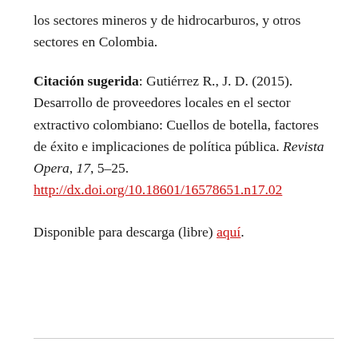los sectores mineros y de hidrocarburos, y otros sectores en Colombia.
Citación sugerida: Gutiérrez R., J. D. (2015). Desarrollo de proveedores locales en el sector extractivo colombiano: Cuellos de botella, factores de éxito e implicaciones de política pública. Revista Opera, 17, 5–25. http://dx.doi.org/10.18601/16578651.n17.02
Disponible para descarga (libre) aquí.